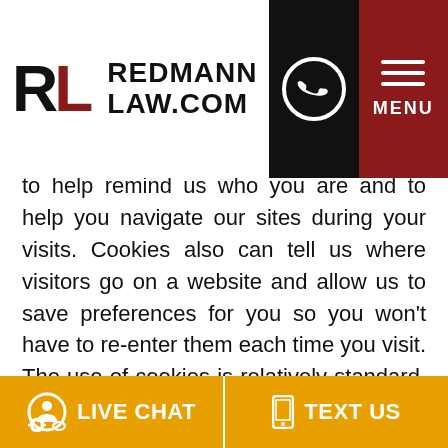[Figure (logo): Redmann Law.com logo with RL initials and navigation icons including phone and menu]
to help remind us who you are and to help you navigate our sites during your visits. Cookies also can tell us where visitors go on a website and allow us to save preferences for you so you won't have to re-enter them each time you visit. The use of cookies is relatively standard. Most Internet browsers are initially set up to accept cookies, but you can use your browser to either notify you when you receive a cookie or to disable cookies.
LIVE CHAT   TEXT US